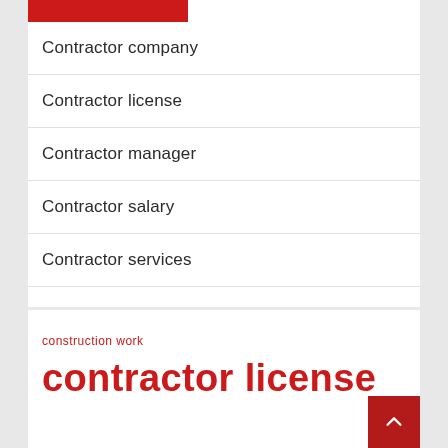Contractor company
Contractor license
Contractor manager
Contractor salary
Contractor services
construction work
contractor license